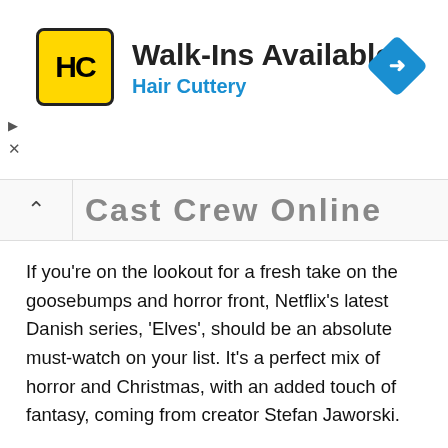[Figure (other): Hair Cuttery advertisement banner with yellow HC logo, 'Walk-Ins Available' heading, 'Hair Cuttery' subtitle in blue, and a blue navigation diamond icon on the right.]
Cast Crew Online
If you're on the lookout for a fresh take on the goosebumps and horror front, Netflix's latest Danish series, 'Elves', should be an absolute must-watch on your list. It's a perfect mix of horror and Christmas, with an added touch of fantasy, coming from creator Stefan Jaworski.
The series stars Ann Eleonora Jorgensen, Rasmus Hammerich, Vivelill Sogaard Holm, Sonja Steen, Peder Thomas Pedersen, Lukas Lokken, and Lila Nobel and the Danish series, originally titled 'Nisser'